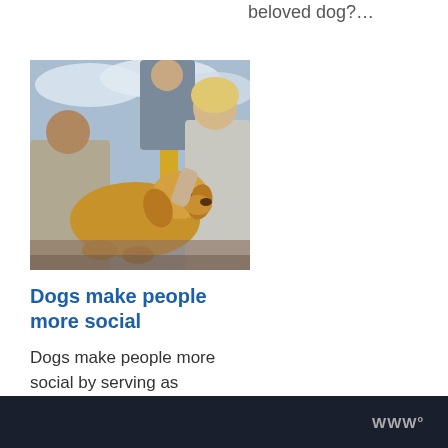beloved dog?…
[Figure (photo): A golden retriever dog lying on the ground being pet by a smiling blonde woman and a man, outdoors with a yellow structure in the background.]
Dogs make people more social
Dogs make people more social by serving as icebreakers and…
WWº